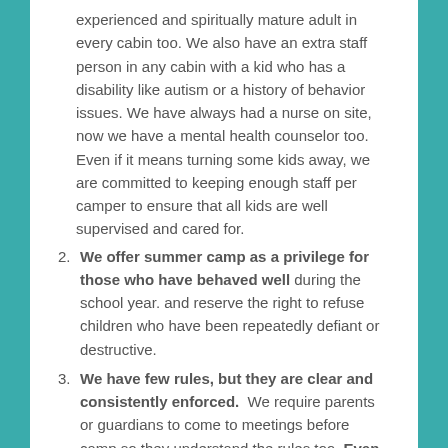experienced and spiritually mature adult in every cabin too. We also have an extra staff person in any cabin with a kid who has a disability like autism or a history of behavior issues. We have always had a nurse on site, now we have a mental health counselor too. Even if it means turning some kids away, we are committed to keeping enough staff per camper to ensure that all kids are well supervised and cared for.
2. We offer summer camp as a privilege for those who have behaved well during the school year. and reserve the right to refuse children who have been repeatedly defiant or destructive.
3. We have few rules, but they are clear and consistently enforced.  We require parents or guardians to come to meetings before camp so they understand the rules too. Even families who get